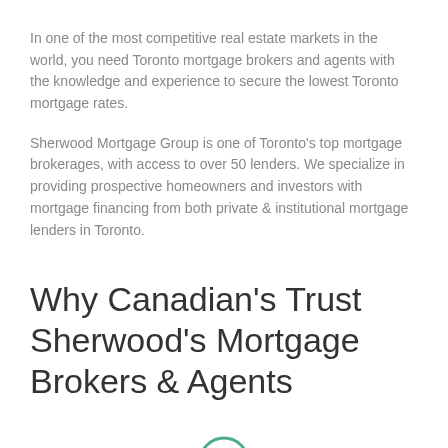In one of the most competitive real estate markets in the world, you need Toronto mortgage brokers and agents with the knowledge and experience to secure the lowest Toronto mortgage rates.
Sherwood Mortgage Group is one of Toronto's top mortgage brokerages, with access to over 50 lenders. We specialize in providing prospective homeowners and investors with mortgage financing from both private & institutional mortgage lenders in Toronto.
Why Canadian's Trust Sherwood's Mortgage Brokers & Agents
[Figure (illustration): Green circle with a checkmark inside (tick/check icon)]